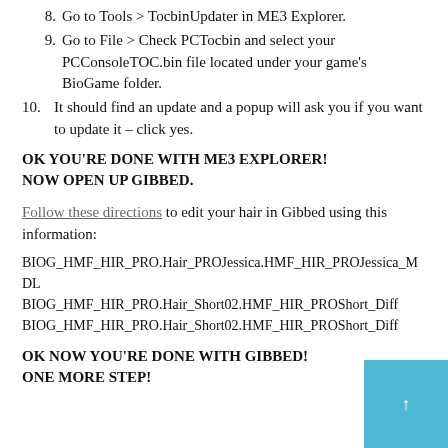8. Go to Tools > TocbinUpdater in ME3 Explorer.
9. Go to File > Check PCTocbin and select your PCConsoleTOC.bin file located under your game's BioGame folder.
10. It should find an update and a popup will ask you if you want to update it – click yes.
OK YOU'RE DONE WITH ME3 EXPLORER! NOW OPEN UP GIBBED.
Follow these directions to edit your hair in Gibbed using this information:
BIOG_HMF_HIR_PRO.Hair_PROJessica.HMF_HIR_PROJessica_MDL
BIOG_HMF_HIR_PRO.Hair_Short02.HMF_HIR_PROShort_Diff
BIOG_HMF_HIR_PRO.Hair_Short02.HMF_HIR_PROShort_Diff
OK NOW YOU'RE DONE WITH GIBBED! ONE MORE STEP!